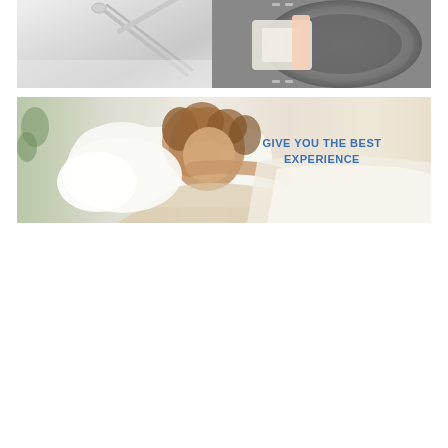[Figure (photo): Top-left: close-up of a white pillow or bedding with zipper/seam detail. Top-right: person's hand pulling white fabric from a washing machine drum.]
[Figure (photo): Woman with curly hair sleeping peacefully on white pillows and bedding. Text overlay reads GIVE YOU THE BEST EXPERIENCE in bold blue capital letters.]